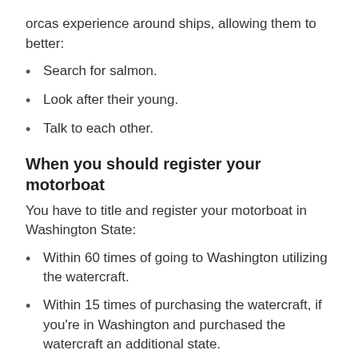orcas experience around ships, allowing them to better:
Search for salmon.
Look after their young.
Talk to each other.
When you should register your motorboat
You have to title and register your motorboat in Washington State:
Within 60 times of going to Washington utilizing the watercraft.
Within 15 times of purchasing the watercraft, if you're in Washington and purchased the watercraft an additional state.
Enrollment requirements